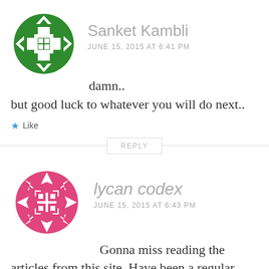[Figure (illustration): Green geometric avatar icon for user Sanket Kambli]
Sanket Kambli
JUNE 15, 2015 AT 6:41 PM
damn..
but good luck to whatever you will do next..
★ Like
REPLY
[Figure (illustration): Pink/magenta geometric avatar icon for user lycan codex]
lycan codex
JUNE 15, 2015 AT 6:43 PM
Gonna miss reading the articles from this site. Have been a regular for couple of years atleast. All the best for